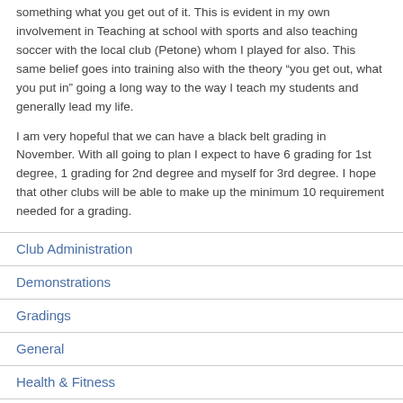something what you get out of it. This is evident in my own involvement in Teaching at school with sports and also teaching soccer with the local club (Petone) whom I played for also. This same belief goes into training also with the theory “you get out, what you put in” going a long way to the way I teach my students and generally lead my life.
I am very hopeful that we can have a black belt grading in November. With all going to plan I expect to have 6 grading for 1st degree, 1 grading for 2nd degree and myself for 3rd degree. I hope that other clubs will be able to make up the minimum 10 requirement needed for a grading.
Club Administration
Demonstrations
Gradings
General
Health & Fitness
History/Theory